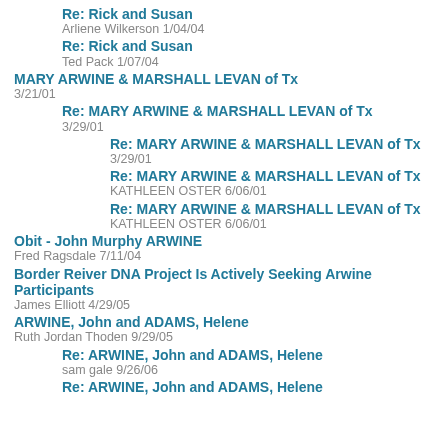Re: Rick and Susan
Arliene Wilkerson 1/04/04
Re: Rick and Susan
Ted Pack 1/07/04
MARY ARWINE & MARSHALL LEVAN of Tx
3/21/01
Re: MARY ARWINE & MARSHALL LEVAN of Tx
3/29/01
Re: MARY ARWINE & MARSHALL LEVAN of Tx
3/29/01
Re: MARY ARWINE & MARSHALL LEVAN of Tx
KATHLEEN OSTER 6/06/01
Re: MARY ARWINE & MARSHALL LEVAN of Tx
KATHLEEN OSTER 6/06/01
Obit - John Murphy ARWINE
Fred Ragsdale 7/11/04
Border Reiver DNA Project Is Actively Seeking Arwine Participants
James Elliott 4/29/05
ARWINE, John and ADAMS, Helene
Ruth Jordan Thoden 9/29/05
Re: ARWINE, John and ADAMS, Helene
sam gale 9/26/06
Re: ARWINE, John and ADAMS, Helene